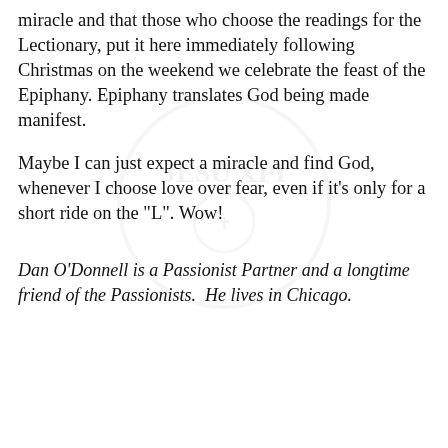miracle and that those who choose the readings for the Lectionary, put it here immediately following Christmas on the weekend we celebrate the feast of the Epiphany. Epiphany translates God being made manifest.
Maybe I can just expect a miracle and find God, whenever I choose love over fear, even if it’s only for a short ride on the “L”. Wow!
Dan O’Donnell is a Passionist Partner and a longtime friend of the Passionists.  He lives in Chicago.